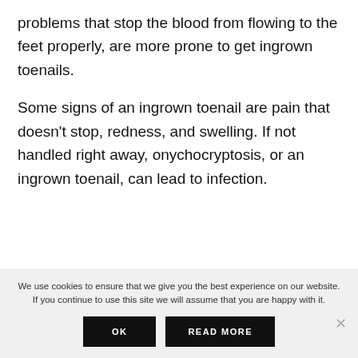problems that stop the blood from flowing to the feet properly, are more prone to get ingrown toenails.
Some signs of an ingrown toenail are pain that doesn't stop, redness, and swelling. If not handled right away, onychocryptosis, or an ingrown toenail, can lead to infection.
We use cookies to ensure that we give you the best experience on our website. If you continue to use this site we will assume that you are happy with it.